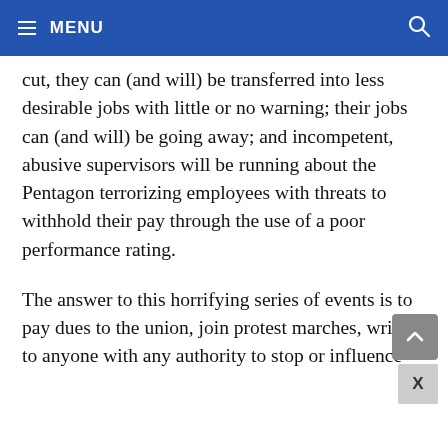MENU
cut, they can (and will) be transferred into less desirable jobs with little or no warning; their jobs can (and will) be going away; and incompetent, abusive supervisors will be running about the Pentagon terrorizing employees with threats to withhold their pay through the use of a poor performance rating.
The answer to this horrifying series of events is to pay dues to the union, join protest marches, write to anyone with any authority to stop or influence